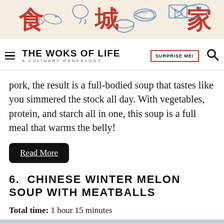[Figure (illustration): Website header banner with Chinese characters (食, 城, 家) in red and blue ink-style food illustrations on a beige/cream background]
THE WOKS OF LIFE | A CULINARY GENEALOGY | SURPRISE ME!
pork, the result is a full-bodied soup that tastes like you simmered the stock all day. With vegetables, protein, and starch all in one, this soup is a full meal that warms the belly!
Read More
6. CHINESE WINTER MELON SOUP WITH MEATBALLS
Total time: 1 hour 15 minutes
[Figure (photo): Partial view of Chinese winter melon soup with meatballs, light gray/blue toned photo, partially obscured by advertisement overlay]